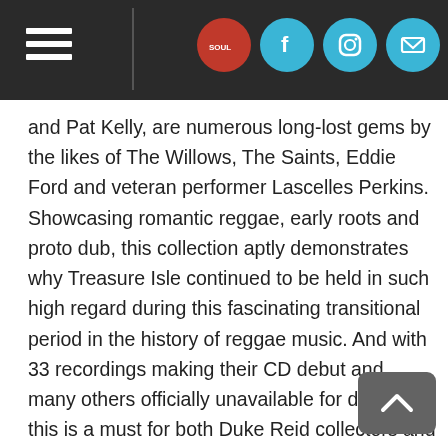[Navigation bar with hamburger menu and social icons: Facebook, Instagram, Email]
and Pat Kelly, are numerous long-lost gems by the likes of The Willows, The Saints, Eddie Ford and veteran performer Lascelles Perkins. Showcasing romantic reggae, early roots and proto dub, this collection aptly demonstrates why Treasure Isle continued to be held in such high regard during this fascinating transitional period in the history of reggae music. And with 33 recordings making their CD debut and many others officially unavailable for decades, this is a must for both Duke Reid collectors and devotees of early, top quality reggae sounds
VISIT US
FACEBOOK
INSTAGRAM
EMAIL